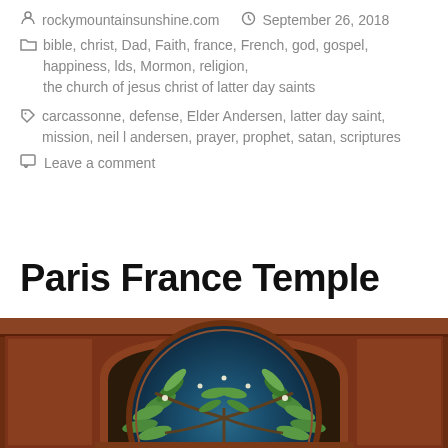rockymountainsunshine.com   September 26, 2018
bible, christ, Dad, Faith, france, French, god, gospel, happiness, lds, Mormon, religion, the church of jesus christ of latter day saints
carcassonne, defense, Elder Andersen, latter day saint, mission, neil l andersen, prayer, prophet, satan, scriptures
Leave a comment
Paris France Temple
[Figure (photo): Interior photo of a temple showing a stained glass window with olive branch motif set in an arched wooden frame with rich cherry wood paneling]